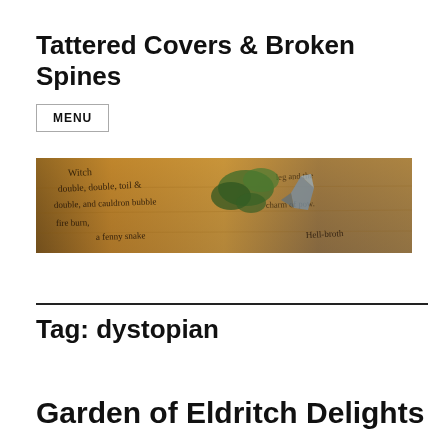Tattered Covers & Broken Spines
MENU
[Figure (photo): A weathered parchment page with handwritten text including 'Witch', 'double, double, toil', 'double, and cauldron bubble', 'fire burn', 'a fenny snake', 'charm of pow', 'Hell-broth', with dried herbs overlaid on top.]
Tag: dystopian
Garden of Eldritch Delights